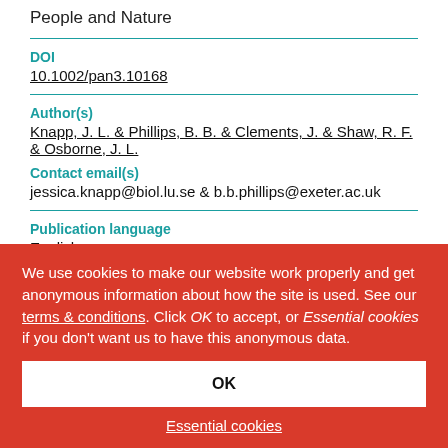People and Nature
DOI
10.1002/pan3.10168
Author(s)
Knapp, J. L. & Phillips, B. B. & Clements, J. & Shaw, R. F. & Osborne, J. L.
Contact email(s)
jessica.knapp@biol.lu.se & b.b.phillips@exeter.ac.uk
Publication language
English
Location
We use cookies to make our website work properly and get anonymous information about how the site is used. See our terms & conditions. Click OK to accept, or Essential cookies if you don't want us to have this anonymous data.
OK
Essential cookies